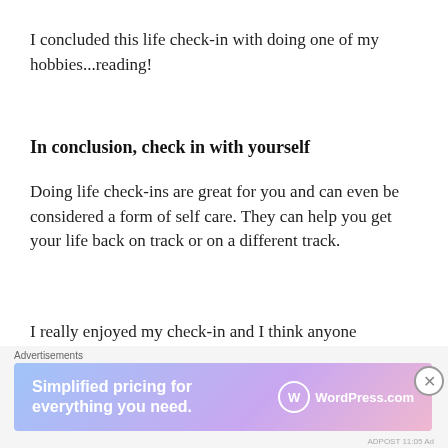I concluded this life check-in with doing one of my hobbies...reading!
In conclusion, check in with yourself
Doing life check-ins are great for you and can even be considered a form of self care. They can help you get your life back on track or on a different track.
I really enjoyed my check-in and I think anyone reading this would like theirs as well.
Advertisements
[Figure (other): WordPress.com advertisement banner: 'Simplified pricing for everything you need.' with WordPress.com logo]